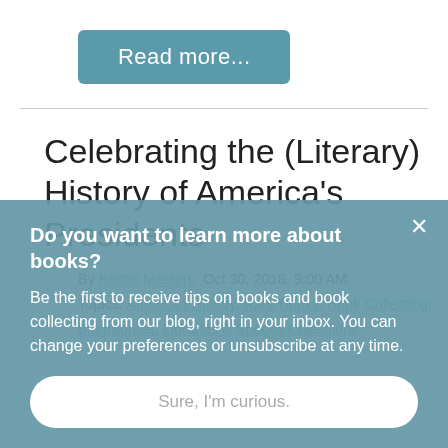[Figure (other): Teal 'Read more...' button]
Celebrating the (Literary) History of America's Presidents
By Kristin Masters. Oct 30, 2018. 9:00 AM.
Topics: American History, Rare Books, Book Collecting, Biographies, Libraries & Special Collections.
Do you want to learn more about books?
Be the first to receive tips on books and book collecting from our blog, right in your inbox. You can change your preferences or unsubscribe at any time.
[Figure (other): White rounded button with text 'Sure, I'm curious.']